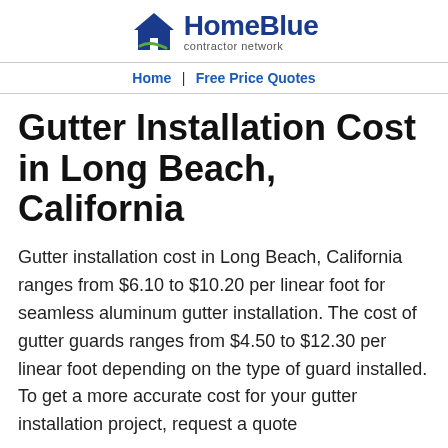HomeBlue contractor network | Home | Free Price Quotes
Gutter Installation Cost in Long Beach, California
Gutter installation cost in Long Beach, California ranges from $6.10 to $10.20 per linear foot for seamless aluminum gutter installation. The cost of gutter guards ranges from $4.50 to $12.30 per linear foot depending on the type of guard installed. To get a more accurate cost for your gutter installation project, request a quote